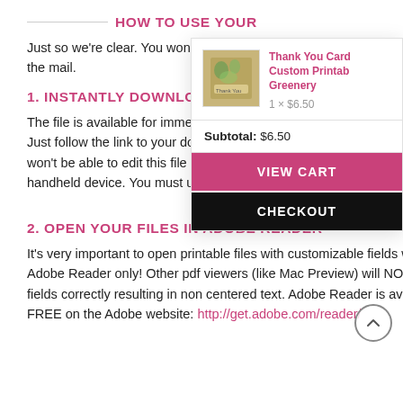HOW TO USE YOUR
Just so we're clear. You won't rece the mail.
1. INSTANTLY DOWNLOAD YOU
The file is available for immediate Just follow the link to your down won't be able to edit this file on a handheld device. You must use a
[Figure (other): Shopping cart overlay showing Thank You Card Custom Printable Greenery product, price 1 x $6.50, subtotal $6.50, VIEW CART and CHECKOUT buttons]
2. OPEN YOUR FILES IN ADOBE READER
It's very important to open printable files with customizable fields with LATEST Adobe Reader only! Other pdf viewers (like Mac Preview) will NOT show the fields correctly resulting in non centered text. Adobe Reader is available for FREE on the Adobe website: http://get.adobe.com/reader/